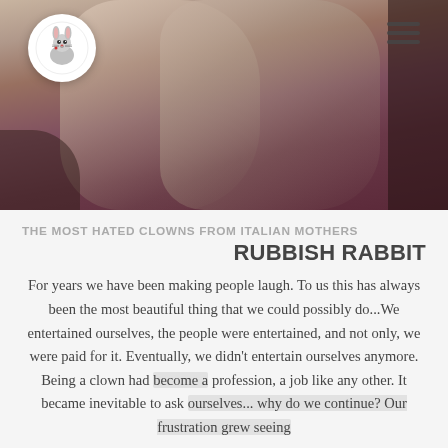[Figure (photo): Two people in shiny/silky robes or costumes on stage, overlapping each other. A cartoon rabbit logo (white circle with illustrated rabbit) is in the top left corner. A hamburger menu icon is in the top right corner.]
THE MOST HATED CLOWNS FROM ITALIAN MOTHERS
RUBBISH RABBIT
For years we have been making people laugh. To us this has always been the most beautiful thing that we could possibly do...We entertained ourselves, the people were entertained, and not only, we were paid for it. Eventually, we didn't entertain ourselves anymore. Being a clown had become a profession, a job like any other. It became inevitable to ask ourselves... why do we continue? Our frustration grew seeing